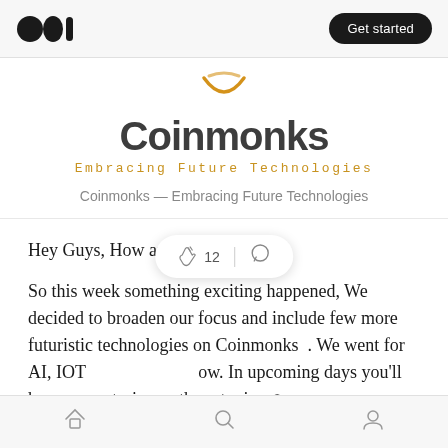Medium logo | Get started
[Figure (logo): Coinmonks publication logo: orange smiley/monk face icon, then 'Coinmonks' in large dark sans-serif, and 'Embracing Future Technologies' in orange monospaced text below]
Coinmonks — Embracing Future Technologies
Hey Guys, How are you?
So this week something exciting happened, We decided to broaden our focus and include few more futuristic technologies on Coinmonks   . We went for AI, IOT  [clap 12 | comment]  ow. In upcoming days you'll hear more stories on these topics 😊.
Home | Search | Profile